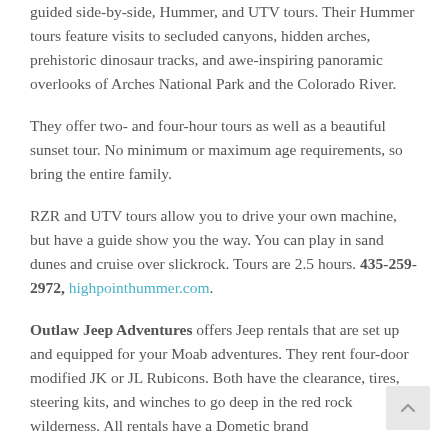guided side-by-side, Hummer, and UTV tours. Their Hummer tours feature visits to secluded canyons, hidden arches, prehistoric dinosaur tracks, and awe-inspiring panoramic overlooks of Arches National Park and the Colorado River.
They offer two- and four-hour tours as well as a beautiful sunset tour. No minimum or maximum age requirements, so bring the entire family.
RZR and UTV tours allow you to drive your own machine, but have a guide show you the way. You can play in sand dunes and cruise over slickrock. Tours are 2.5 hours. 435-259-2972, highpointhummer.com.
Outlaw Jeep Adventures offers Jeep rentals that are set up and equipped for your Moab adventures. They rent four-door modified JK or JL Rubicons. Both have the clearance, tires, steering kits, and winches to go deep in the red rock wilderness. All rentals have a Dometic brand